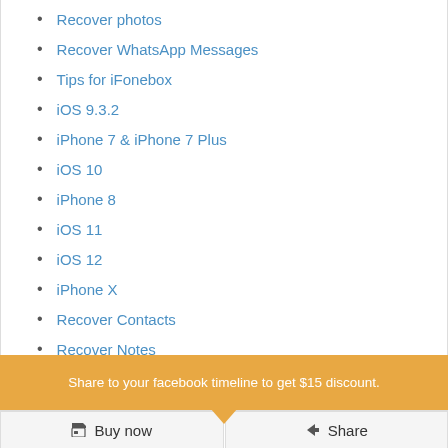Recover photos
Recover WhatsApp Messages
Tips for iFonebox
iOS 9.3.2
iPhone 7 & iPhone 7 Plus
iOS 10
iPhone 8
iOS 11
iOS 12
iPhone X
Recover Contacts
Recover Notes
Share to your facebook timeline to get $15 discount.
Buy now
Share